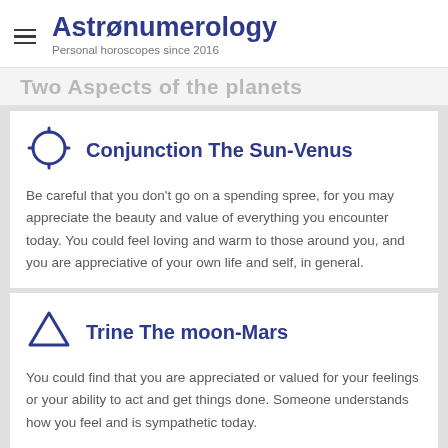Astřønumerology — Personal horoscopes since 2016
Two Aspects of the planets
Conjunction The Sun-Venus
Be careful that you don't go on a spending spree, for you may appreciate the beauty and value of everything you encounter today. You could feel loving and warm to those around you, and you are appreciative of your own life and self, in general.
Trine The moon-Mars
You could find that you are appreciated or valued for your feelings or your ability to act and get things done. Someone understands how you feel and is sympathetic today.